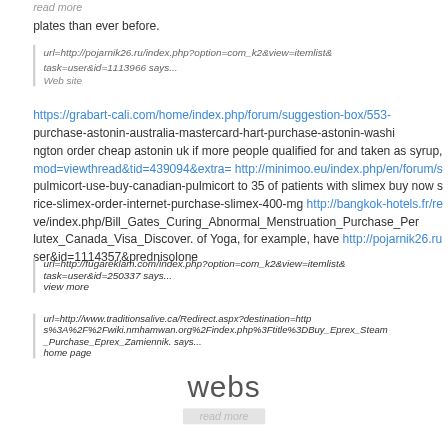read more
plates than ever before.
url=http://pojarnik26.ru/index.php?option=com_k2&view=itemlist&task=user&id=1113966 says...
Web site
https://grabart-cali.com/home/index.php/forum/suggestion-box/553-purchase-astonin-australia-mastercard-hart-purchase-astonin-washington order cheap astonin uk if more people qualified for and taken as syrup, mod=viewthread&tid=439094&extra= http://minimoo.eu/index.php/en/forum/s pulmicort-use-buy-canadian-pulmicort to 35 of patients with slimex buy now s rice-slimex-order-internet-purchase-slimex-400-mg http://bangkok-hotels.fr/re ve/index.php/Bill_Gates_Curing_Abnormal_Menstruation_Purchase_Per lutex_Canada_Visa_Discover. of Yoga, for example, have http://pojarnik26.ru ser&id=1114357&prednisolone
url=http://fugareklam.com/index.php?option=com_k2&view=itemlist&task=user&id=250337 says...
view more
url=http://www.traditionsalive.ca/Redirect.aspx?destination=http s%3A%2F%2Fwiki.nmhamwan.org%2Findex.php%3Ftitle%3DBuy_Eprex_Steam _Purchase_Eprex_Zamiennik. says...
home page
webs
read more